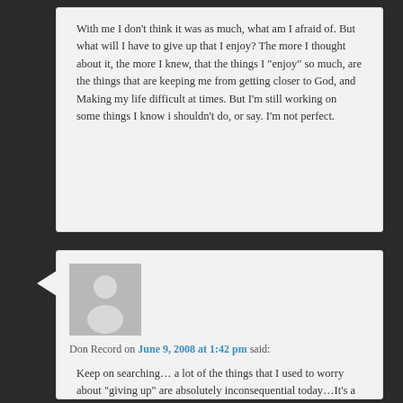With me I don't think it was as much, what am I afraid of. But what will I have to give up that I enjoy? The more I thought about it, the more I knew, that the things I “enjoy” so much, are the things that are keeping me from getting closer to God, and Making my life difficult at times. But I’m still working on some things I know i shouldn’t do, or say. I’m not perfect.
[Figure (illustration): Default user avatar placeholder — grey circle head and body silhouette on grey square background]
Don Record on June 9, 2008 at 1:42 pm said:
Keep on searching… a lot of the things that I used to worry about “giving up” are absolutely inconsequential today…It’s a journey…you may end up being pleasently surprised.